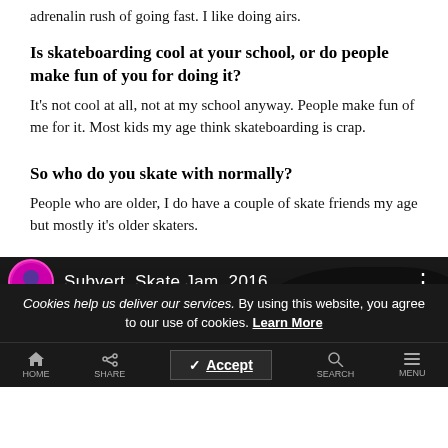adrenalin rush of going fast. I like doing airs.
Is skateboarding cool at your school, or do people make fun of you for doing it?
It's not cool at all, not at my school anyway. People make fun of me for it. Most kids my age think skateboarding is crap.
So who do you skate with normally?
People who are older, I do have a couple of skate friends my age but mostly it's older skaters.
[Figure (screenshot): Video embed thumbnail showing 'Subvert, Skate Jam, 2016.' title with avatar icon on dark background]
Cookies help us deliver our services. By using this website, you agree to our use of cookies. Learn More
HOME  SHARE  Accept  SEARCH  MENU